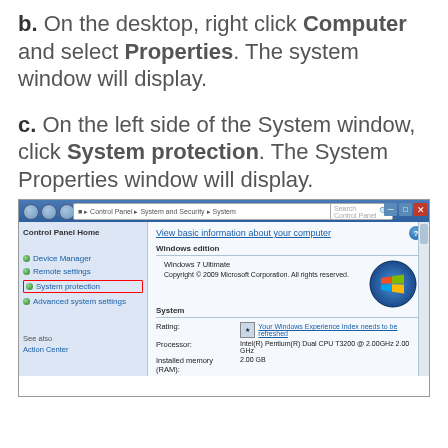b. On the desktop, right click Computer and select Properties. The system window will display.
c. On the left side of the System window, click System protection. The System Properties window will display.
[Figure (screenshot): Screenshot of Windows 7 Control Panel System window showing Control Panel Home sidebar with Device Manager, Remote settings, System protection (highlighted with red box), and Advanced system settings links. Main area shows 'View basic information about your computer' with Windows 7 Ultimate edition info, Windows logo, and System section with Rating, Processor, Installed memory (RAM), System type, and Pen and Touch fields.]